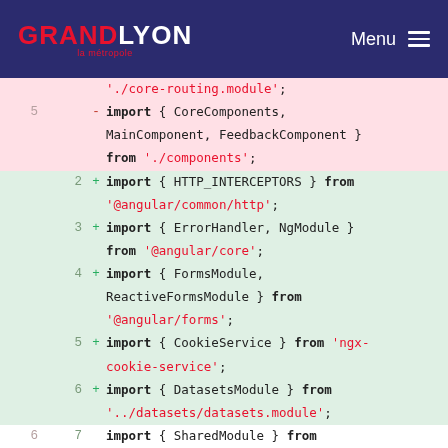GRANDLYON la métropole | Menu
[Figure (screenshot): Code diff view showing import changes in a TypeScript/Angular module file. Removed lines (red background) show old imports including CoreComponents, MainComponent, FeedbackComponent. Added lines (green background) show new imports including HTTP_INTERCEPTORS, ErrorHandler, NgModule, FormsModule, ReactiveFormsModule, CookieService, DatasetsModule, CoreComponents, MainComponent, CloseMenuDirective.]